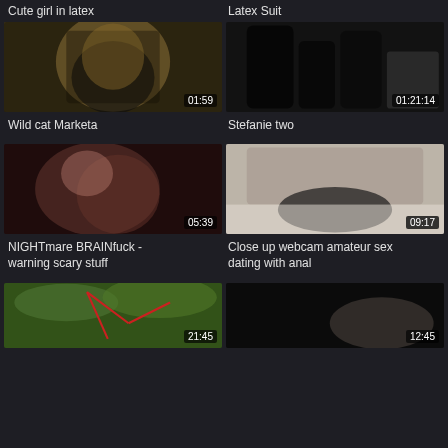Cute girl in latex
Latex Suit
[Figure (screenshot): Video thumbnail: woman in black latex covering face, duration 01:59]
[Figure (screenshot): Video thumbnail: black latex boots and legs, duration 01:21:14]
Wild cat Marketa
Stefanie two
[Figure (screenshot): Video thumbnail: woman being grabbed by throat, duration 05:39]
[Figure (screenshot): Video thumbnail: woman in black latex on couch, duration 09:17]
NIGHTmare BRAINfuck - warning scary stuff
Close up webcam amateur sex dating with anal
[Figure (screenshot): Video thumbnail: outdoor trees with red lines, duration 21:45]
[Figure (screenshot): Video thumbnail: dark scene, duration 12:45]